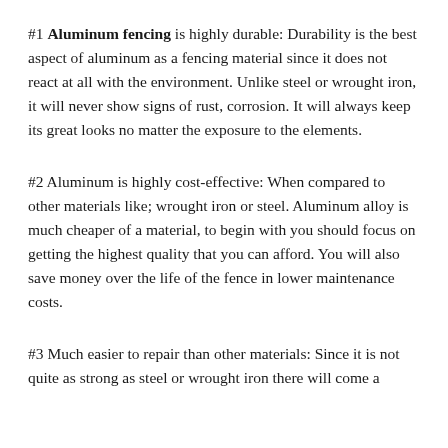#1 Aluminum fencing is highly durable: Durability is the best aspect of aluminum as a fencing material since it does not react at all with the environment. Unlike steel or wrought iron, it will never show signs of rust, corrosion. It will always keep its great looks no matter the exposure to the elements.
#2 Aluminum is highly cost-effective: When compared to other materials like; wrought iron or steel. Aluminum alloy is much cheaper of a material, to begin with you should focus on getting the highest quality that you can afford. You will also save money over the life of the fence in lower maintenance costs.
#3 Much easier to repair than other materials: Since it is not quite as strong as steel or wrought iron there will come a